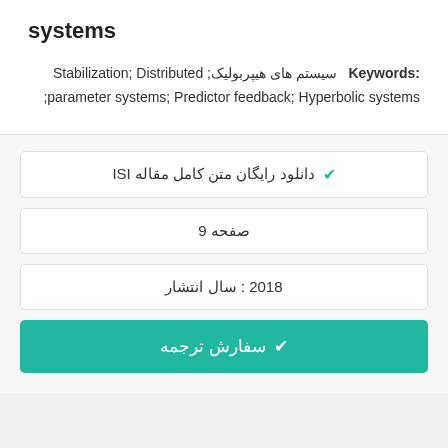systems
Keywords: سیستم های هیپربولیک; Stabilization; Distributed parameter systems; Predictor feedback; Hyperbolic systems;
✔ دانلود رایگان متن کامل مقاله ISI
9 صفحه
سال انتشار : 2018
✔ سفارش ترجمه